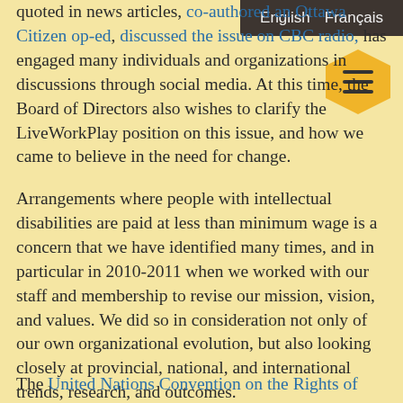quoted in news articles, co-authored an Ottawa Citizen op-ed, discussed the issue on CBC radio, has engaged many individuals and organizations in discussions through social media. At this time, the Board of Directors also wishes to clarify the LiveWorkPlay position on this issue, and how we came to believe in the need for change.
Arrangements where people with intellectual disabilities are paid at less than minimum wage is a concern that we have identified many times, and in particular in 2010-2011 when we worked with our staff and membership to revise our mission, vision, and values. We did so in consideration not only of our own organizational evolution, but also looking closely at provincial, national, and international trends, research, and outcomes.
The United Nations Convention on the Rights of Persons with Disabilities offered us context...